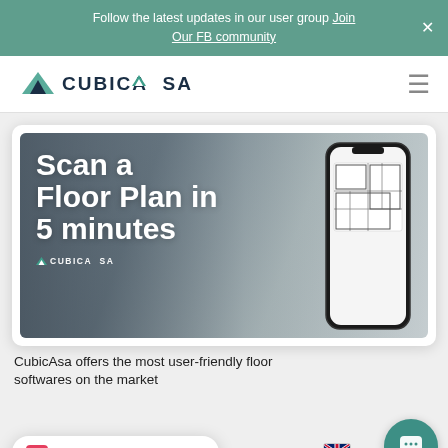Follow the latest updates in our user group Join Our FB community
[Figure (logo): CubicAsa logo with teal arrow/house icon and bold text CUBICASA]
[Figure (screenshot): Hero image with text 'Scan a Floor Plan in 5 minutes' with CubicAsa logo overlay, showing a hand holding a smartphone displaying a floor plan, background is a blurred desk with floor plan papers]
CubicAsa offers the most user-friendly floor plan softwares on the market
You have 1 message!
[Figure (other): Chat support button - dark teal circle with white chat icon]
EN